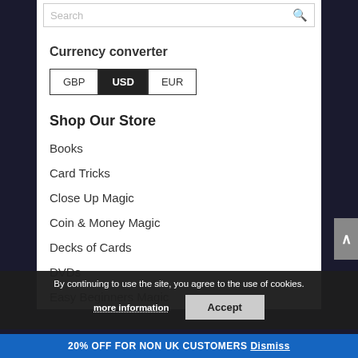Currency converter
GBP  USD  EUR
Shop Our Store
Books
Card Tricks
Close Up Magic
Coin & Money Magic
Decks of Cards
DVDs
Easy Beginners Magic
By continuing to use the site, you agree to the use of cookies.
more information    Accept
20% OFF FOR NON UK CUSTOMERS  Dismiss